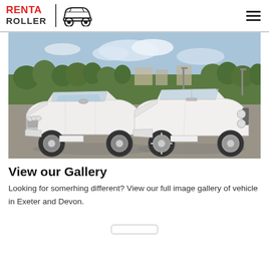RENT A ROLLER
[Figure (photo): Two white luxury cars (Bentley and Rolls-Royce Phantom) parked side by side on a gravel area with trees and buildings in background]
View our Gallery
Looking for somerhing different? View our full image gallery of vehicle in Exeter and Devon.